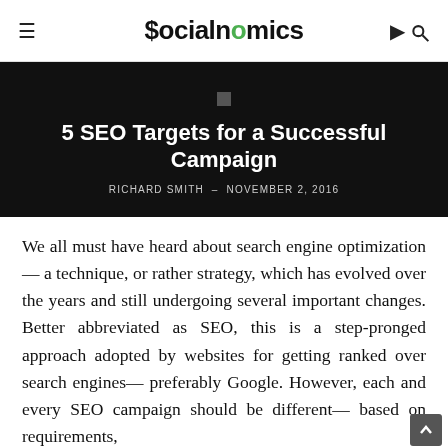Socialnomics
5 SEO Targets for a Successful Campaign
RICHARD SMITH – NOVEMBER 2, 2016
We all must have heard about search engine optimization— a technique, or rather strategy, which has evolved over the years and still undergoing several important changes. Better abbreviated as SEO, this is a step-pronged approach adopted by websites for getting ranked over search engines— preferably Google. However, each and every SEO campaign should be different— based on requirements,